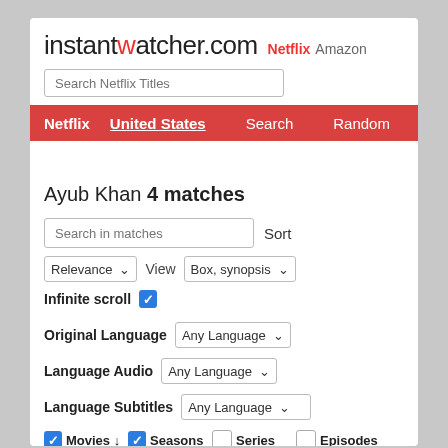instantwatcher.com Netflix Amazon
Search Netflix Titles
Netflix United States  Search  Random
Ayub Khan 4 matches
Search in matches  Sort
Relevance  View  Box, synopsis
Infinite scroll (checked)
Original Language  Any Language
Language Audio  Any Language
Language Subtitles  Any Language
Movies  Seasons  Series  Episodes